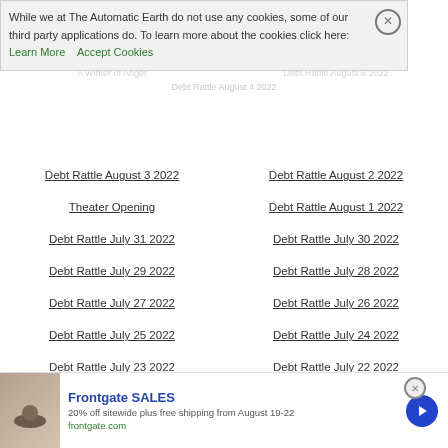While we at The Automatic Earth do not use any cookies, some of our third party applications do. To learn more about the cookies click here: Learn More   Accept Cookies
Debt Rattle August 3 2022
Debt Rattle August 2 2022
Theater Opening
Debt Rattle August 1 2022
Debt Rattle July 31 2022
Debt Rattle July 30 2022
Debt Rattle July 29 2022
Debt Rattle July 28 2022
Debt Rattle July 27 2022
Debt Rattle July 26 2022
Debt Rattle July 25 2022
Debt Rattle July 24 2022
Debt Rattle July 23 2022
Debt Rattle July 22 2022
Debt Rattle July 21 2022
Debt Rattle July 20 2022
Debt Rattle July 19 2022
Debt Rattle July 18 2022
Debt Rattle July 17 2022
Debt Rattle July 16 2022
Frontgate SALES
20% off sitewide plus free shipping from August 19-22
frontgate.com